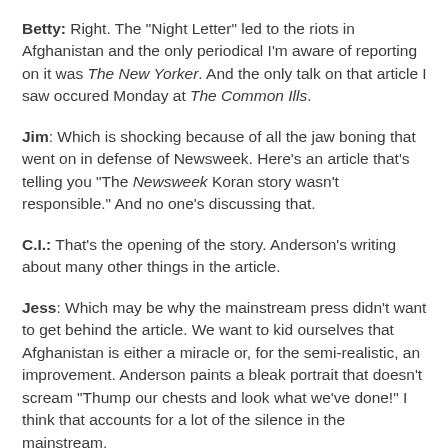Betty: Right. The "Night Letter" led to the riots in Afghanistan and the only periodical I'm aware of reporting on it was The New Yorker. And the only talk on that article I saw occured Monday at The Common Ills.
Jim: Which is shocking because of all the jaw boning that went on in defense of Newsweek. Here's an article that's telling you "The Newsweek Koran story wasn't responsible." And no one's discussing that.
C.I.: That's the opening of the story. Anderson's writing about many other things in the article.
Jess: Which may be why the mainstream press didn't want to get behind the article. We want to kid ourselves that Afghanistan is either a miracle or, for the semi-realistic, an improvement. Anderson paints a bleak portrait that doesn't scream "Thump our chests and look what we've done!" I think that accounts for a lot of the silence in the mainstream.
Betty: But this was the other thing Michael was so angry